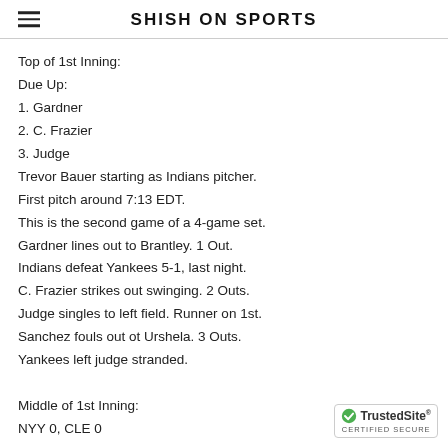SHISH ON SPORTS
Top of 1st Inning:
Due Up:
1. Gardner
2. C. Frazier
3. Judge
Trevor Bauer starting as Indians pitcher.
First pitch around 7:13 EDT.
This is the second game of a 4-game set.
Gardner lines out to Brantley. 1 Out.
Indians defeat Yankees 5-1, last night.
C. Frazier strikes out swinging. 2 Outs.
Judge singles to left field. Runner on 1st.
Sanchez fouls out ot Urshela. 3 Outs.
Yankees left judge stranded.
Middle of 1st Inning:
NYY 0, CLE 0